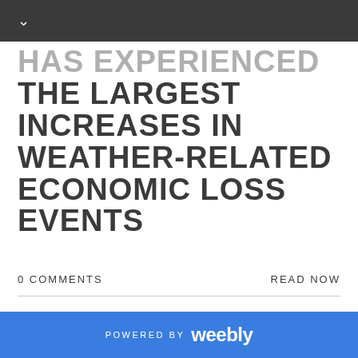HAS EXPERIENCED
THE LARGEST INCREASES IN WEATHER-RELATED ECONOMIC LOSS EVENTS
0 COMMENTS
READ NOW
DETAILS +
POWERED BY weebly